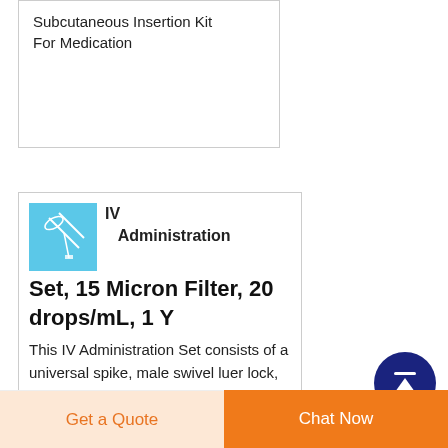Subcutaneous Insertion Kit For Medication
[Figure (photo): Product thumbnail showing IV administration set components on blue background]
IV Administration Set, 15 Micron Filter, 20 drops/mL, 1 Y
This IV Administration Set consists of a universal spike, male swivel luer lock, roller clamp and 15 micron filter in the drip chamber. Special feature, the Easydrop Rate flow regulator. Simply dial the mL/hour. Non-Latex and non-DEHP. Or choose this
[Figure (other): Dark blue circular scroll-to-top button with white upward arrow]
Get a Quote
Chat Now